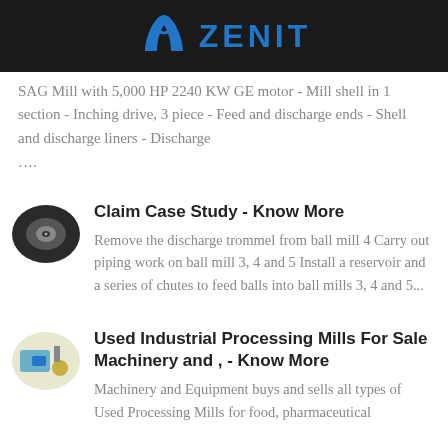ZENIT
SAG Mill with 5,000 HP 2240 KW GE motor - Mill shell in 1 section - Inching drive, 3 piece - Feed and discharge ends - Shell and discharge liners - Discharge ....
[Figure (photo): Small circular thumbnail image of a mill/disc component]
Claim Case Study - Know More
Remove the discharge trommel from ball mill 4 Carry out piping work on ball mill 3, 4 and 5 Install a reservoir and a series of chutes to feed balls into ball mills 3, 4 and 5...
[Figure (photo): Small circular thumbnail image of industrial processing equipment]
Used Industrial Processing Mills For Sale Machinery and , - Know More
Machinery and Equipment buys and sells all types of Used Processing Mills for food, pharmaceutical